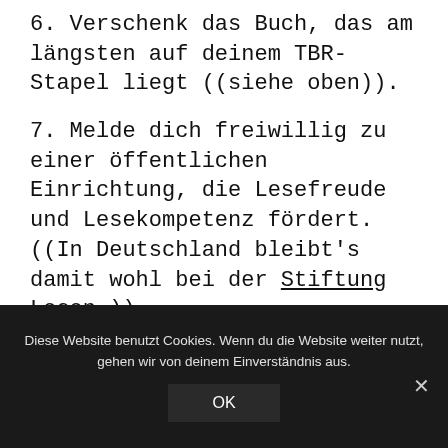6. Verschenk das Buch, das am längsten auf deinem TBR-Stapel liegt ((siehe oben)).
7. Melde dich freiwillig zu einer öffentlichen Einrichtung, die Lesefreude und Lesekompetenz fördert. ((In Deutschland bleibt's damit wohl bei der Stiftung Lesen.))
8. Lies ein Buch, das von außen verstörend auf dich wirkt.
Diese Website benutzt Cookies. Wenn du die Website weiter nutzt, gehen wir von deinem Einverständnis aus.